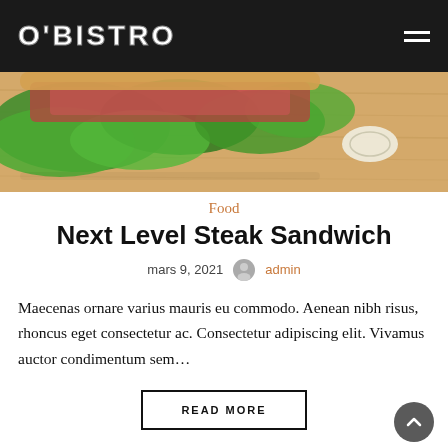O'BISTRO
[Figure (photo): Close-up photo of a sandwich with lettuce and tomato on a wooden cutting board]
Food
Next Level Steak Sandwich
mars 9, 2021  admin
Maecenas ornare varius mauris eu commodo. Aenean nibh risus, rhoncus eget consectetur ac. Consectetur adipiscing elit. Vivamus auctor condimentum sem...
READ MORE